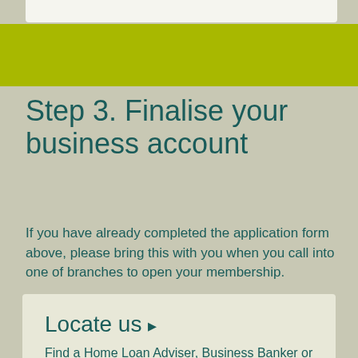Step 3. Finalise your business account
If you have already completed the application form above, please bring this with you when you call into one of branches to open your membership.
Locate us →
Find a Home Loan Adviser, Business Banker or branch near you.
Locate a branch